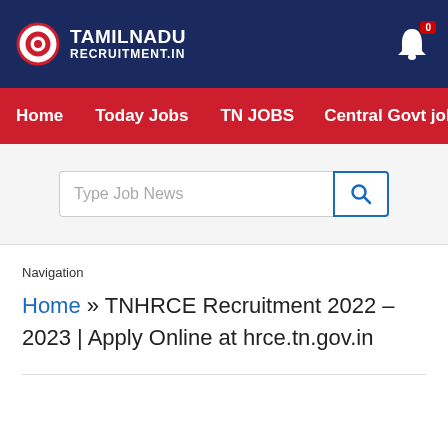TAMILNADU RECRUITMENT.IN
Home  Today Jobs  TN JOBS  Central Govt jobs
[Figure (screenshot): Search bar with placeholder 'Type Job News' and a blue search icon button]
Navigation
Home » TNHRCE Recruitment 2022 – 2023 | Apply Online at hrce.tn.gov.in